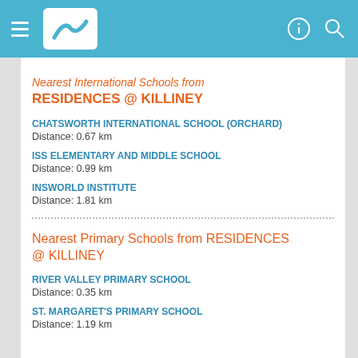Navigation header bar with hamburger menu, logo, and search icons
Nearest International Schools from RESIDENCES @ KILLINEY
CHATSWORTH INTERNATIONAL SCHOOL (ORCHARD)
Distance: 0.67 km
ISS ELEMENTARY AND MIDDLE SCHOOL
Distance: 0.99 km
INSWORLD INSTITUTE
Distance: 1.81 km
Nearest Primary Schools from RESIDENCES @ KILLINEY
RIVER VALLEY PRIMARY SCHOOL
Distance: 0.35 km
ST. MARGARET'S PRIMARY SCHOOL
Distance: 1.19 km